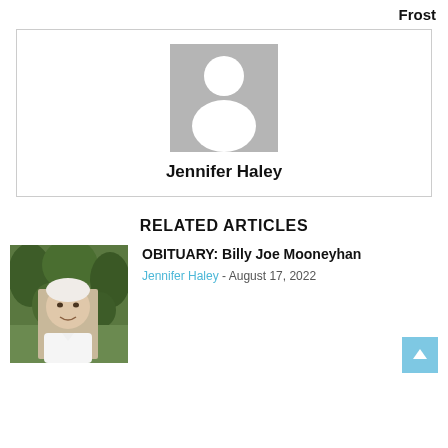Frost
[Figure (illustration): Author avatar placeholder — grey silhouette of a person on white background]
Jennifer Haley
RELATED ARTICLES
[Figure (photo): Thumbnail photo of Billy Joe Mooneyhan, an elderly man in a white shirt, with cemetery/trees in background]
OBITUARY: Billy Joe Mooneyhan
Jennifer Haley - August 17, 2022